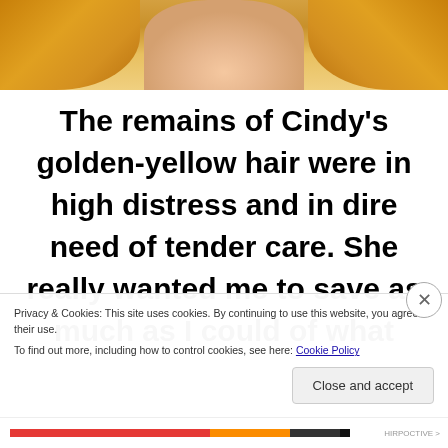[Figure (photo): Close-up of a doll's neck and shoulder area with golden-yellow hair visible on left, right, and top. The skin/neck area is peach-toned, and the hair is a bright golden-yellow color.]
The remains of Cindy's golden-yellow hair were in high distress and in dire need of tender care. She really wanted me to save as much as I could of what
Privacy & Cookies: This site uses cookies. By continuing to use this website, you agree to their use.
To find out more, including how to control cookies, see here: Cookie Policy
Close and accept